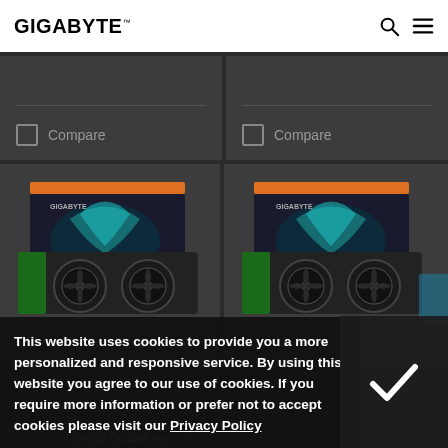GIGABYTE
[Figure (screenshot): Two product card top sections with Compare checkboxes on dark background]
[Figure (photo): GIGABYTE GeForce RTX graphics card product photo - left card]
[Figure (photo): GIGABYTE GeForce RTX graphics card product photo - right card]
This website uses cookies to provide you a more personalized and responsive service. By using this website you agree to our use of cookies. If you require more information or prefer not to accept cookies please visit our Privacy Policy
RTX 3060 EAGLE OC 12G (rev. 1.0)